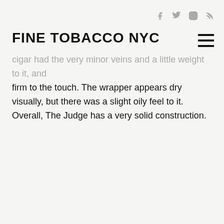FINE TOBACCO NYC
cigar had the very minor veins and a little weight to it, and firm to the touch. The wrapper appears dry visually, but there was a slight oily feel to it. Overall, The Judge has a very solid construction.